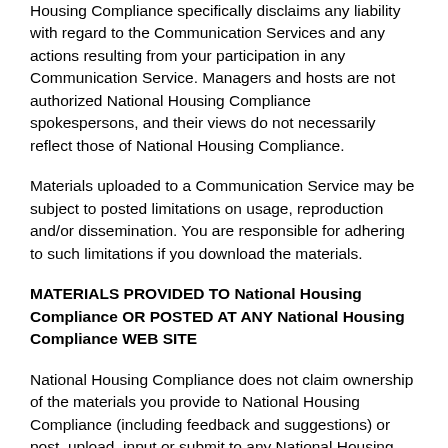Housing Compliance specifically disclaims any liability with regard to the Communication Services and any actions resulting from your participation in any Communication Service. Managers and hosts are not authorized National Housing Compliance spokespersons, and their views do not necessarily reflect those of National Housing Compliance.
Materials uploaded to a Communication Service may be subject to posted limitations on usage, reproduction and/or dissemination. You are responsible for adhering to such limitations if you download the materials.
MATERIALS PROVIDED TO National Housing Compliance OR POSTED AT ANY National Housing Compliance WEB SITE
National Housing Compliance does not claim ownership of the materials you provide to National Housing Compliance (including feedback and suggestions) or post, upload, input or submit to any National Housing Compliance Web Site or its associated services (collectively "Submissions"). However, by posting, uploading, inputting, providing or submitting your Submission you are granting National Housing Compliance, its affiliated companies and necessary sublicensees permission to use your Submission in connection with the operation of